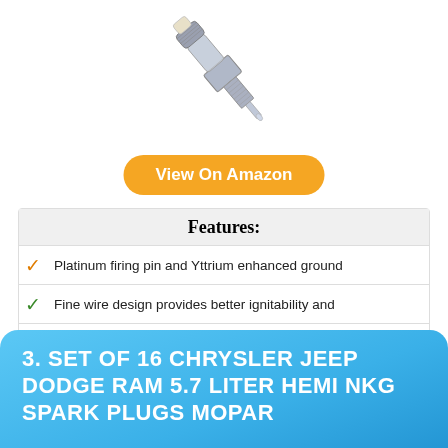[Figure (photo): A chrome metal spark plug photographed against a white background, tilted diagonally]
View On Amazon
| Features: |
| --- |
| Platinum firing pin and Yttrium enhanced ground |
| Fine wire design provides better ignitability and |
| 360 degree continuous laser welding to fuse the platinum |
| 4 year performance Satisfaction guarantee |
| Original equipment, pre-gapped replacement delivering |
| Fit type: Vehicle Specific |
3. SET OF 16 CHRYSLER JEEP DODGE RAM 5.7 LITER HEMI NKG SPARK PLUGS MOPAR